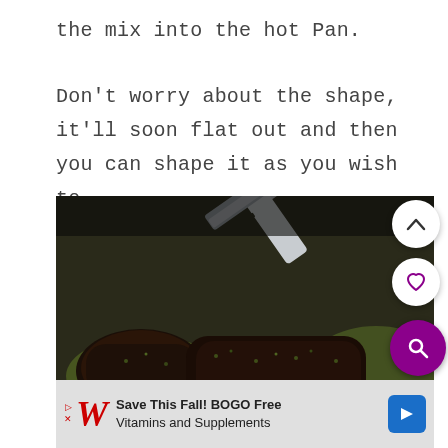the mix into the hot Pan.
Don't worry about the shape, it'll soon flat out and then you can shape it as you wish to.
[Figure (photo): Close-up photo of dark-crusted patties being cooked in a pan with green herbs, a metal spatula visible at the top.]
Save This Fall! BOGO Free Vitamins and Supplements